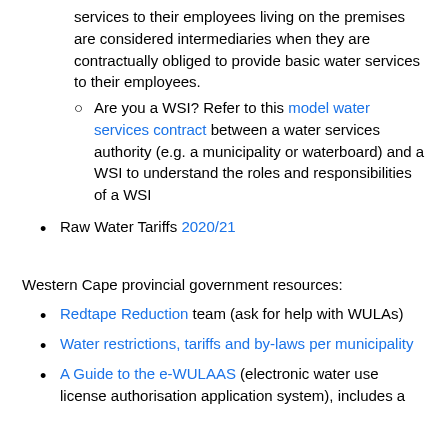services to their employees living on the premises are considered intermediaries when they are contractually obliged to provide basic water services to their employees.
Are you a WSI? Refer to this model water services contract between a water services authority (e.g. a municipality or waterboard) and a WSI to understand the roles and responsibilities of a WSI
Raw Water Tariffs 2020/21
Western Cape provincial government resources:
Redtape Reduction team (ask for help with WULAs)
Water restrictions, tariffs and by-laws per municipality
A Guide to the e-WULAAS (electronic water use license authorisation application system), includes a